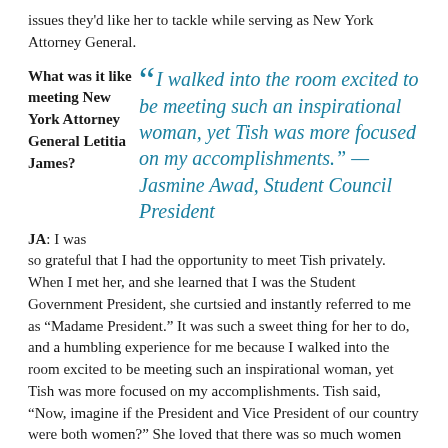issues they'd like her to tackle while serving as New York Attorney General.
What was it like meeting New York Attorney General Letitia James?
“I walked into the room excited to be meeting such an inspirational woman, yet Tish was more focused on my accomplishments.” —Jasmine Awad, Student Council President
JA: I was so grateful that I had the opportunity to meet Tish privately. When I met her, and she learned that I was the Student Government President, she curtsied and instantly referred to me as “Madame President.” It was such a sweet thing for her to do, and a humbling experience for me because I walked into the room excited to be meeting such an inspirational woman, yet Tish was more focused on my accomplishments. Tish said, “Now, imagine if the President and Vice President of our country were both women?” She loved that there was so much women representation in our college.